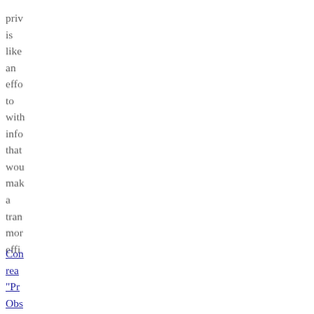priv is like an effo to with info that wou mak a tran mor effi
Con rea "Pr Obs and Kee Eco At